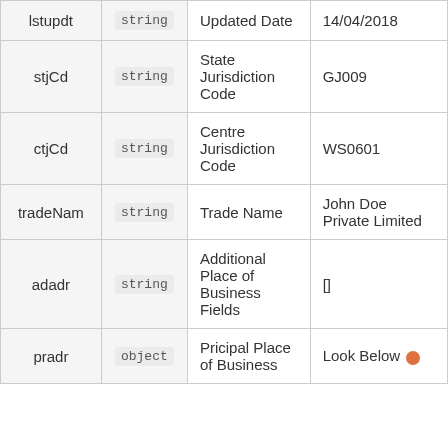| Field | Type | Description | Example |
| --- | --- | --- | --- |
| lstupdt | string | Updated Date | 14/04/2018 |
| stjCd | string | State Jurisdiction Code | GJ009 |
| ctjCd | string | Centre Jurisdiction Code | WS0601 |
| tradeNam | string | Trade Name | John Doe Private Limited |
| adadr | string | Additional Place of Business Fields | [] |
| pradr | object | Pricipal Place of Business | Look Below |